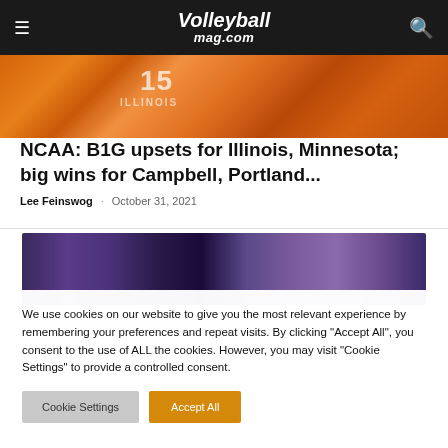Volleyballmag.com
[Figure (photo): Sports photo showing Illinois volleyball player wearing #15 jersey]
NCAA: B1G upsets for Illinois, Minnesota; big wins for Campbell, Portland...
Lee Feinswog · October 31, 2021
[Figure (photo): Second volleyball photo showing players in purple uniforms]
We use cookies on our website to give you the most relevant experience by remembering your preferences and repeat visits. By clicking "Accept All", you consent to the use of ALL the cookies. However, you may visit "Cookie Settings" to provide a controlled consent.